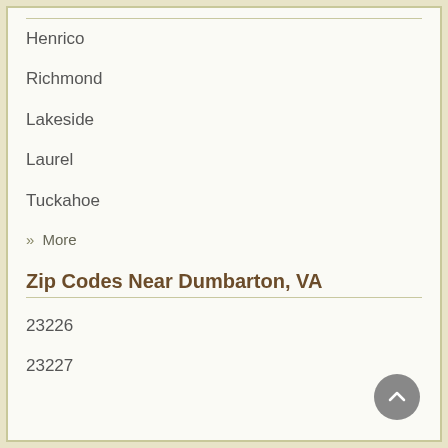Henrico
Richmond
Lakeside
Laurel
Tuckahoe
» More
Zip Codes Near Dumbarton, VA
23226
23227